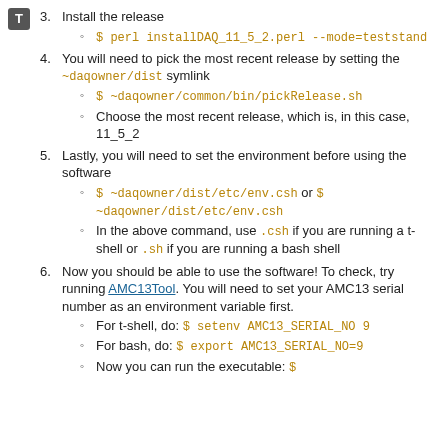3. Install the release
$ perl installDAQ_11_5_2.perl --mode=teststand
4. You will need to pick the most recent release by setting the ~daqowner/dist symlink
$ ~daqowner/common/bin/pickRelease.sh
Choose the most recent release, which is, in this case, 11_5_2
5. Lastly, you will need to set the environment before using the software
$ ~daqowner/dist/etc/env.csh or $ ~daqowner/dist/etc/env.csh
In the above command, use .csh if you are running a t-shell or .sh if you are running a bash shell
6. Now you should be able to use the software! To check, try running AMC13Tool. You will need to set your AMC13 serial number as an environment variable first.
For t-shell, do: $ setenv AMC13_SERIAL_NO 9
For bash, do: $ export AMC13_SERIAL_NO=9
Now you can run the executable: $